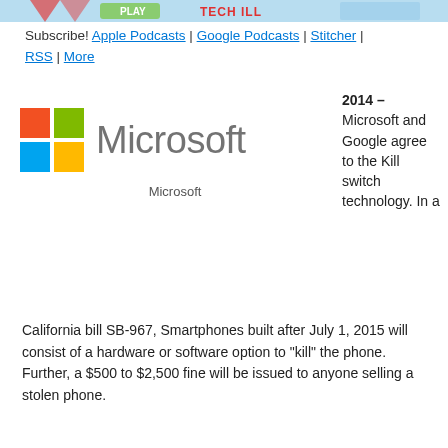[Figure (illustration): Banner image with podcast/media logo at top of page]
Subscribe! Apple Podcasts | Google Podcasts | Stitcher | RSS | More
[Figure (logo): Microsoft logo with four-color grid icon and 'Microsoft' wordmark in gray]
Microsoft
2014 – Microsoft and Google agree to the Kill switch technology. In a California bill SB-967, Smartphones built after July 1, 2015 will consist of a hardware or software option to "kill" the phone. Further, a $500 to $2,500 fine will be issued to anyone selling a stolen phone.